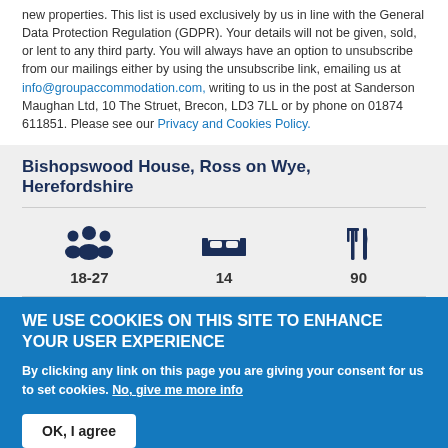new properties. This list is used exclusively by us in line with the General Data Protection Regulation (GDPR). Your details will not be given, sold, or lent to any third party. You will always have an option to unsubscribe from our mailings either by using the unsubscribe link, emailing us at info@groupaccommodation.com, writing to us in the post at Sanderson Maughan Ltd, 10 The Struet, Brecon, LD3 7LL or by phone on 01874 611851. Please see our Privacy and Cookies Policy.
Bishopswood House, Ross on Wye, Herefordshire
[Figure (infographic): Three icons with values: people icon with 18-27, bed icon with 14, fork-and-knife icon with 90]
WE USE COOKIES ON THIS SITE TO ENHANCE YOUR USER EXPERIENCE
By clicking any link on this page you are giving your consent for us to set cookies. No, give me more info
OK, I agree